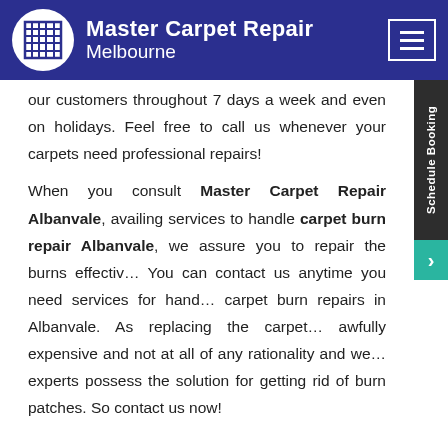[Figure (logo): Master Carpet Repair Melbourne logo with header navigation bar in dark blue/navy background. Logo shows a carpet grid icon in a white circle. Right side has hamburger menu icon.]
our customers throughout 7 days a week and even on holidays. Feel free to call us whenever your carpets need professional repairs!
When you consult Master Carpet Repair Albanvale, availing services to handle carpet burn repair Albanvale, we assure you to repair the burns effectively. You can contact us anytime you need services for handling carpet burn repairs in Albanvale. As replacing the carpet is awfully expensive and not at all of any rationality and we experts possess the solution for getting rid of burn patches. So contact us now!